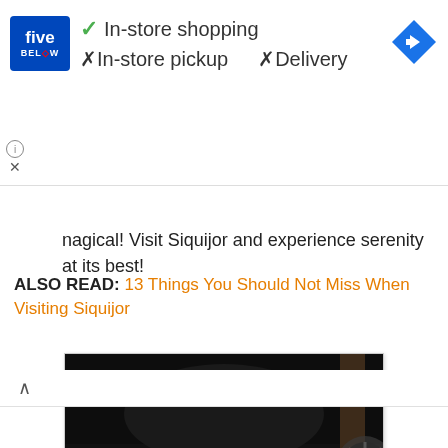[Figure (screenshot): Five Below store ad banner showing In-store shopping (checkmark), In-store pickup (X), Delivery (X), with Five Below logo and Google Maps navigation icon]
nagical! Visit Siquijor and experience serenity at its best!
ALSO READ: 13 Things You Should Not Miss When Visiting Siquijor
[Figure (photo): Photo of four people sitting at a dinner table outdoors at night, smiling at camera, with food and drinks on the table]